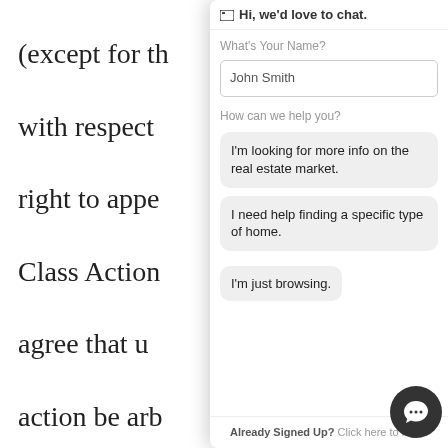(except for the with respect to right to appear Class Action agree that under action be arb
(B) If a Claim for relief and a class the Class Action Arbitration A from awardin unenforceab determination becomes final after all appeals have been exhausted), the Claim for public injunctive relief will be determined in court and any individual
[Figure (screenshot): Chat widget overlay showing: header 'Hi, we'd love to chat!', input field labeled 'What's Your Name?' with placeholder 'John Smith', a section 'How can we help you?' with three option buttons: 'I'm looking for more info on the real estate market.', 'I need help finding a specific type of home.', 'I'm just browsing.', and a footer 'Already Signed Up? Click here to login.' A chat bubble icon appears in the bottom right.]